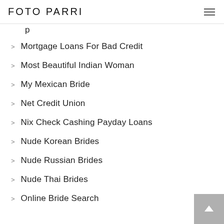FOTO PARRI
Mortgage Loans For Bad Credit
Most Beautiful Indian Woman
My Mexican Bride
Net Credit Union
Nix Check Cashing Payday Loans
Nude Korean Brides
Nude Russian Brides
Nude Thai Brides
Online Bride Search